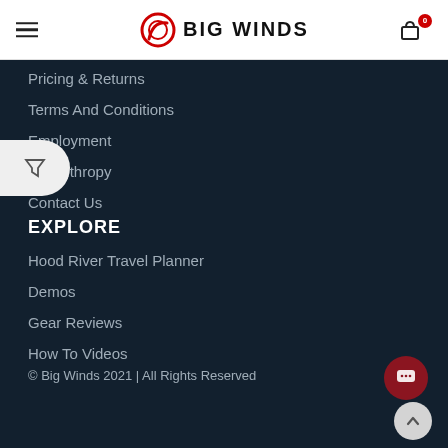BIG WINDS
Pricing & Returns
Terms And Conditions
Employment
Philanthropy
Contact Us
EXPLORE
Hood River Travel Planner
Demos
Gear Reviews
How To Videos
© Big Winds 2021 | All Rights Reserved